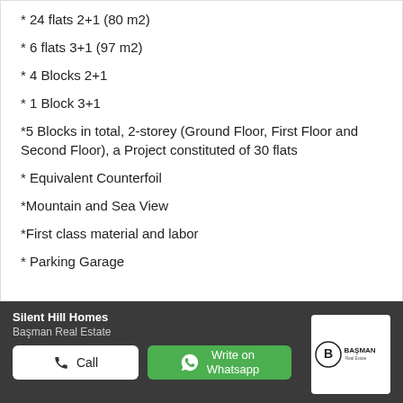* 24 flats 2+1 (80 m2)
* 6 flats 3+1 (97 m2)
* 4 Blocks 2+1
* 1 Block 3+1
*5 Blocks in total, 2-storey (Ground Floor, First Floor and Second Floor), a Project constituted of 30 flats
* Equivalent Counterfoil
*Mountain and Sea View
*First class material and labor
* Parking Garage
Silent Hill Homes
Başman Real Estate
[Figure (logo): Başman Real Estate logo — circular B icon with BAŞMAN Real Estate text]